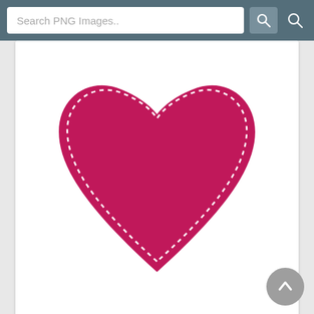Search PNG Images..
[Figure (illustration): Pink/dark pink heart shape with dotted white stitch border on white card background — top portion cut off]
Heart PNG-PlusPNG.co (#15263)
Size: 4000x3630px    Filesize: 156.48 Kb
[Figure (illustration): Bright pink heart with a black arrow piercing through it diagonally, on white card background — partially cut off at bottom]
Heart PNG-Transparen (#15258)